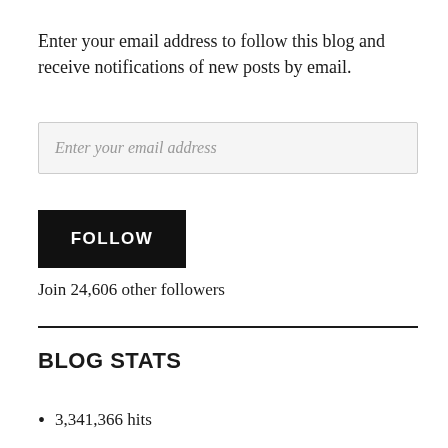Enter your email address to follow this blog and receive notifications of new posts by email.
Enter your email address
FOLLOW
Join 24,606 other followers
BLOG STATS
3,341,366 hits